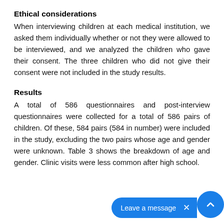Ethical considerations
When interviewing children at each medical institution, we asked them individually whether or not they were allowed to be interviewed, and we analyzed the children who gave their consent. The three children who did not give their consent were not included in the study results.
Results
A total of 586 questionnaires and post-interview questionnaires were collected for a total of 586 pairs of children. Of these, 584 pairs (584 in number) were included in the study, excluding the two pairs whose age and gender were unknown. Table 3 shows the breakdown of age and gender. Clinic visits were less common after high school.